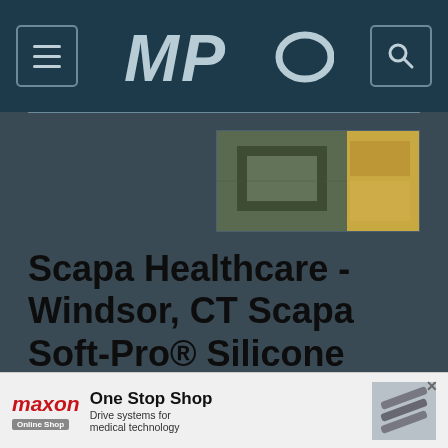MPO
[Figure (screenshot): Thumbnail image of medical/healthcare adhesive product or facility]
Scapa Healthcare - Windsor, CT Scapa Soft-Pro® Silicone Adhesive Coating Capabilities & Services
...
[Figure (screenshot): Second article thumbnail image]
[Figure (other): Maxon advertisement banner: One Stop Shop - Drive systems for medical technology]